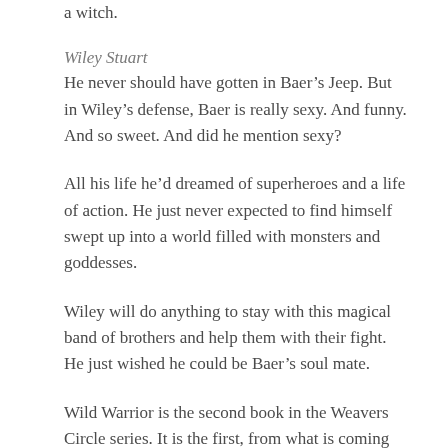a witch.
Wiley Stuart
He never should have gotten in Baer’s Jeep. But in Wiley’s defense, Baer is really sexy. And funny. And so sweet. And did he mention sexy?
All his life he’d dreamed of superheroes and a life of action. He just never expected to find himself swept up into a world filled with monsters and goddesses.
Wiley will do anything to stay with this magical band of brothers and help them with their fight. He just wished he could be Baer’s soul mate.
Wild Warrior is the second book in the Weavers Circle series. It is the first, from what is coming...